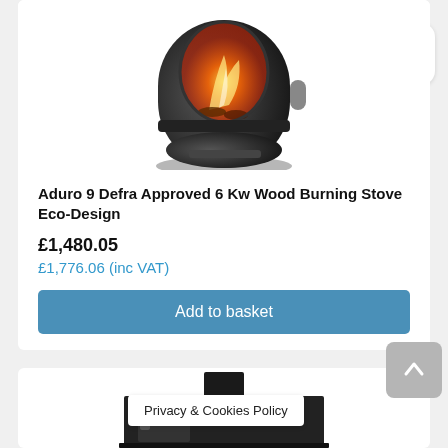[Figure (photo): Black cylindrical wood burning stove (Aduro 9 Defra) with glass door showing flames, photographed from the front on white background, top portion visible]
Aduro 9 Defra Approved 6 Kw Wood Burning Stove Eco-Design
£1,480.05
£1,776.06 (inc VAT)
Add to basket
[Figure (photo): Black rectangular wood burning stove, bottom portion visible, with chimney flue on top]
Privacy & Cookies Policy